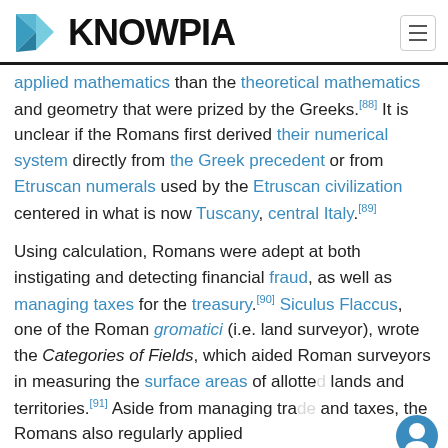KNOWPIA
applied mathematics than the theoretical mathematics and geometry that were prized by the Greeks.[88] It is unclear if the Romans first derived their numerical system directly from the Greek precedent or from Etruscan numerals used by the Etruscan civilization centered in what is now Tuscany, central Italy.[89]
Using calculation, Romans were adept at both instigating and detecting financial fraud, as well as managing taxes for the treasury.[90] Siculus Flaccus, one of the Roman gromatici (i.e. land surveyor), wrote the Categories of Fields, which aided Roman surveyors in measuring the surface areas of allotted lands and territories.[91] Aside from managing trade and taxes, the Romans also regularly applied